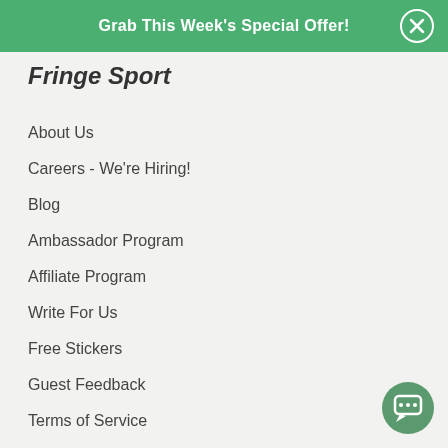Grab This Week's Special Offer!
Fringe Sport
About Us
Careers - We're Hiring!
Blog
Ambassador Program
Affiliate Program
Write For Us
Free Stickers
Guest Feedback
Terms of Service
Privacy Policy
Accessibility Policy
Product Liability Disclaimer